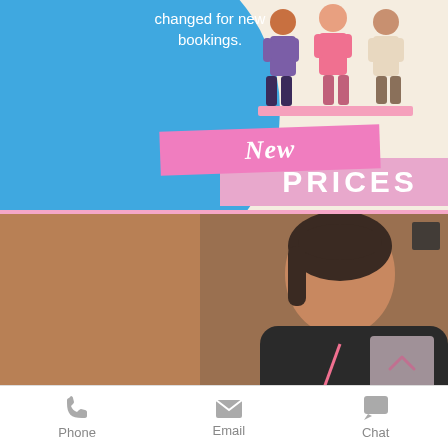[Figure (infographic): Promotional infographic with blue circle background, illustrated people figures, pink banners reading 'New PRICES', and text 'changed for new bookings.']
[Figure (photo): Photo of a woman with dark hair pulled back, wearing a dark shirt with a pink lanyard, looking down, in a warmly lit room. Small dark square icon in top right corner, and a pink scroll-up button in the bottom right.]
Phone
Email
Chat